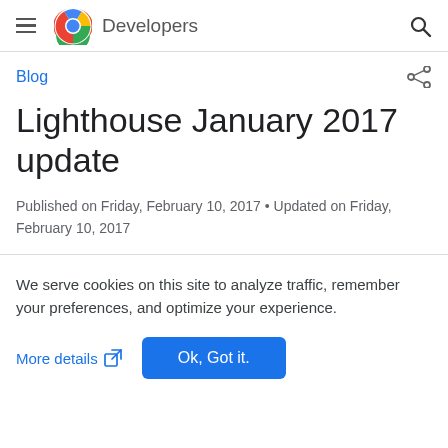Google Chrome Developers
Blog
Lighthouse January 2017 update
Published on Friday, February 10, 2017 • Updated on Friday, February 10, 2017
We serve cookies on this site to analyze traffic, remember your preferences, and optimize your experience.
More details
Ok, Got it.